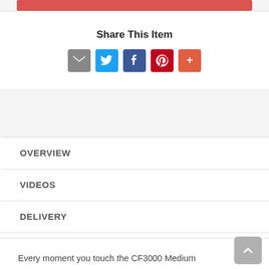Share This Item
[Figure (infographic): Social share icons: email (gray), Twitter (blue), Facebook (dark blue), Pinterest (red), More (orange-red)]
OVERVIEW
VIDEOS
DELIVERY
REVIEWS (40)
Every moment you touch the CF3000 Medium